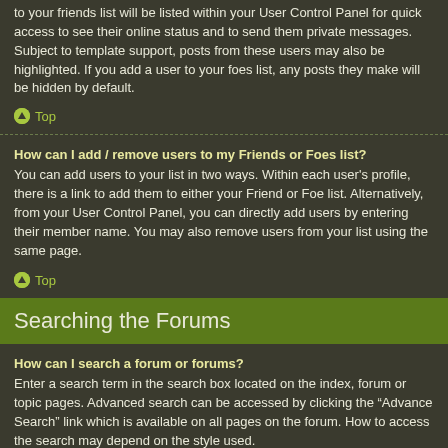to your friends list will be listed within your User Control Panel for quick access to see their online status and to send them private messages. Subject to template support, posts from these users may also be highlighted. If you add a user to your foes list, any posts they make will be hidden by default.
Top
How can I add / remove users to my Friends or Foes list?
You can add users to your list in two ways. Within each user's profile, there is a link to add them to either your Friend or Foe list. Alternatively, from your User Control Panel, you can directly add users by entering their member name. You may also remove users from your list using the same page.
Top
Searching the Forums
How can I search a forum or forums?
Enter a search term in the search box located on the index, forum or topic pages. Advanced search can be accessed by clicking the “Advance Search” link which is available on all pages on the forum. How to access the search may depend on the style used.
Top